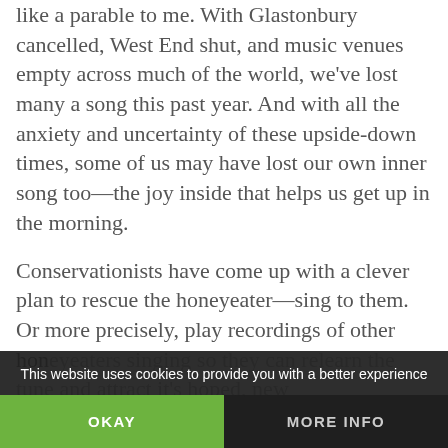like a parable to me. With Glastonbury cancelled, West End shut, and music venues empty across much of the world, we've lost many a song this past year. And with all the anxiety and uncertainty of these upside-down times, some of us may have lost our own inner song too—the joy inside that helps us get up in the morning.
Conservationists have come up with a clever plan to rescue the honeyeater—sing to them. Or more precisely, play recordings of other honeyeaters singing so they can relearn the tune and attract it's hoped, new
This website uses cookies to provide you with a better experience
OKAY
MORE INFO